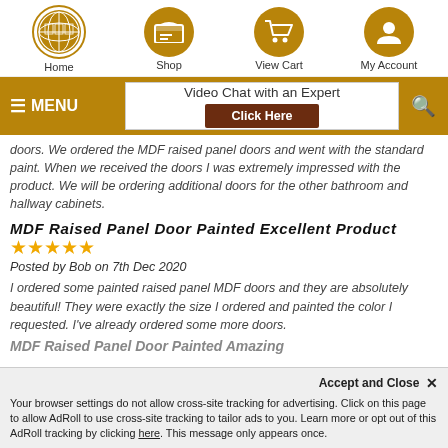Home | Shop | View Cart | My Account
MENU | Video Chat with an Expert - Click Here
doors. We ordered the MDF raised panel doors and went with the standard paint. When we received the doors I was extremely impressed with the product. We will be ordering additional doors for the other bathroom and hallway cabinets.
MDF Raised Panel Door Painted Excellent Product
★★★★★
Posted by Bob on 7th Dec 2020
I ordered some painted raised panel MDF doors and they are absolutely beautiful! They were exactly the size I ordered and painted the color I requested. I've already ordered some more doors.
MDF Raised Panel Door Painted Amazing
Accept and Close ×
Your browser settings do not allow cross-site tracking for advertising. Click on this page to allow AdRoll to use cross-site tracking to tailor ads to you. Learn more or opt out of this AdRoll tracking by clicking here. This message only appears once.